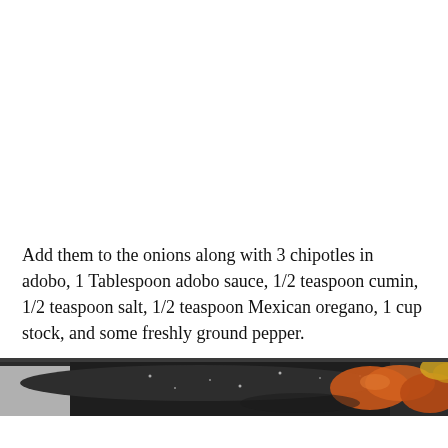Add them to the onions along with 3 chipotles in adobo, 1 Tablespoon adobo sauce, 1/2 teaspoon cumin, 1/2 teaspoon salt, 1/2 teaspoon Mexican oregano, 1 cup stock, and some freshly ground pepper.
[Figure (photo): A close-up photo strip showing a dark cast iron pan with cooked ingredients including red tomatoes and other vegetables with some liquid, partially visible at the bottom of the page.]